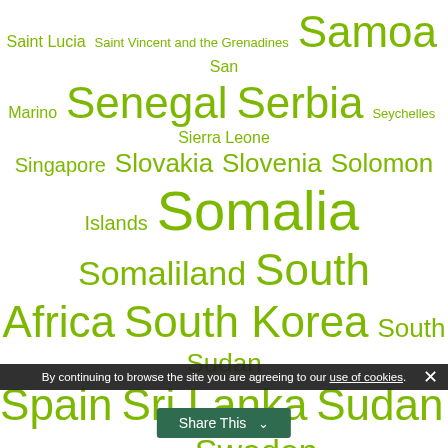[Figure (infographic): Tag cloud / word cloud of country names in various font sizes rendered in green on white background. Countries shown include Saint Lucia, Saint Vincent and the Grenadines, Samoa, San Marino, Senegal, Serbia, Seychelles, Sierra Leone, Singapore, Slovakia, Slovenia, Solomon Islands, Somalia, Somaliland, South Africa, South Korea, South Sudan, Spain, Sri Lanka, Sudan, Suriname, Sweden, Switzerland, Swizerland, Syria, São Tomé and Príncipe, Taiwan, Tajikistan, Tanzania, Thailand, Tibet, Timor-Leste, Togo, Tonga, Trinidad and Tobago, Tunisia, Turkey, Turkmenistan, Tuvalu, Uganda, Ukraine, United Kingdom, Uruguay, Uzbekistan, Vanuatu, Venezuela, Vietnam, West Bank, Yemen. Font size indicates relative frequency/importance.]
By continuing to browse the site you are agreeing to our use of cookies.
Share This